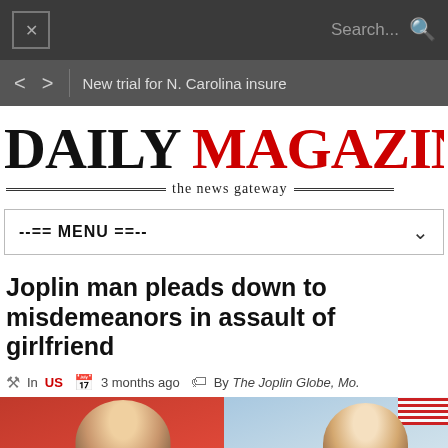✕  Search...  🔍
< >  New trial for N. Carolina insure
DAILY MAGAZINE — the news gateway
--== MENU ==--
Joplin man pleads down to misdemeanors in assault of girlfriend
In US   3 months ago   By The Joplin Globe, Mo.
[Figure (photo): Photo showing two individuals against red and blue backgrounds with a US flag visible]